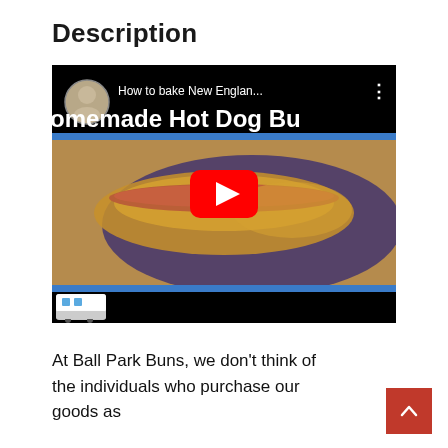Description
[Figure (screenshot): YouTube video thumbnail showing a homemade hot dog bun with a sausage on a plate. Video title: 'How to bake New Englan... omemade Hot Dog Bu' with a play button overlay.]
At Ball Park Buns, we don’t think of the individuals who purchase our goods as